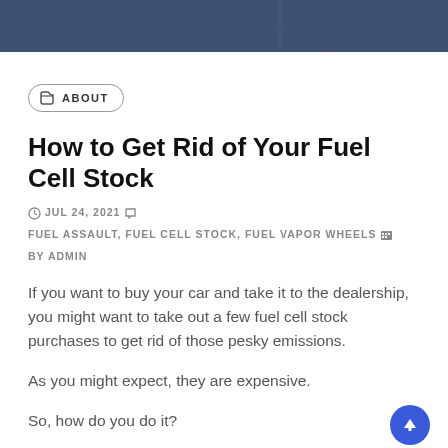[Figure (photo): Dark blue header banner with faint tower/antenna silhouette in background]
ABOUT
How to Get Rid of Your Fuel Cell Stock
JUL 24, 2021  FUEL ASSAULT, FUEL CELL STOCK, FUEL VAPOR WHEELS  BY ADMIN
If you want to buy your car and take it to the dealership, you might want to take out a few fuel cell stock purchases to get rid of those pesky emissions.
As you might expect, they are expensive.
So, how do you do it?